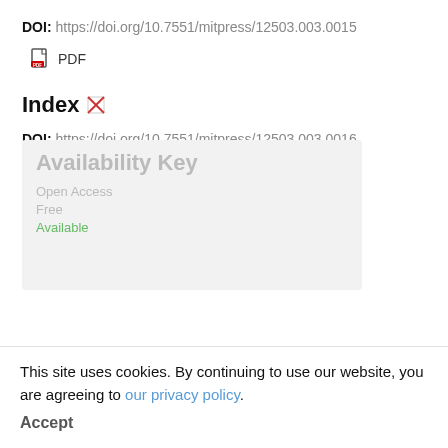DOI: https://doi.org/10.7551/mitpress/12503.003.0015
[Figure (other): PDF file icon with 'PDF' label]
Index
DOI: https://doi.org/10.7551/mitpress/12503.003.0016
[Figure (other): PDF file icon with 'PDF' label]
Availability Key
This site uses cookies. By continuing to use our website, you are agreeing to our privacy policy. Accept